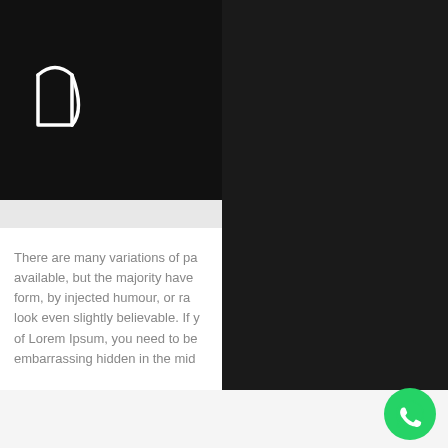[Figure (logo): White line-art logo on black background, resembling a stylized letter or flag shape]
There are many variations of pa available, but the majority have form, by injected humour, or ra look even slightly believable. If you of Lorem Ipsum, you need to be embarrassing hidden in the mid